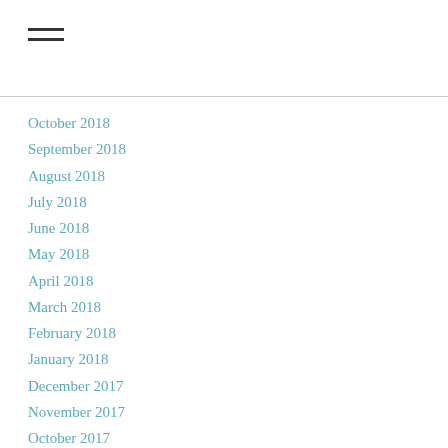[Figure (other): Hamburger menu icon — three horizontal black lines]
October 2018
September 2018
August 2018
July 2018
June 2018
May 2018
April 2018
March 2018
February 2018
January 2018
December 2017
November 2017
October 2017
September 2017
August 2017
July 2017
June 2017